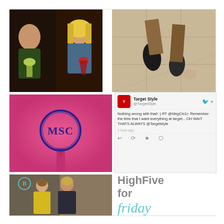[Figure (photo): Collage of five photos: two people drinking cocktails at a restaurant, a top-down shot of shoes on tile floor, a pink background with MSC monogram circle, a Tweet from Target Style, two women posing outside, and a 'High Five for Friday' text graphic.]
Target Style @TargetStyle Nothing wrong with that! :) RT @MegCin1r: Remember the time that I want everything at target....OH WAIT THATS ALWAYS @Targetstyle 1 hour ago
HighFive for friday